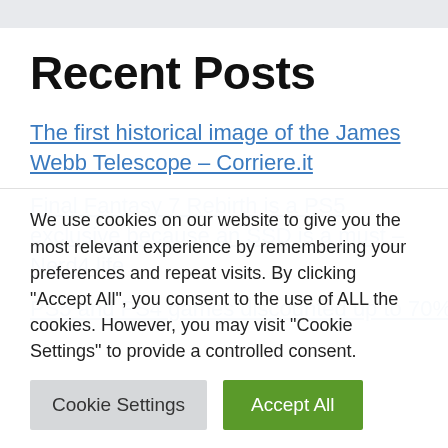Recent Posts
The first historical image of the James Webb Telescope – Corriere.it
Final Fantasy 7 Rebirth is a PS5 exclusive because an SSD is a must – Nerd4.life
PS5 and PS4 games discounted up to 70% –
We use cookies on our website to give you the most relevant experience by remembering your preferences and repeat visits. By clicking "Accept All", you consent to the use of ALL the cookies. However, you may visit "Cookie Settings" to provide a controlled consent.